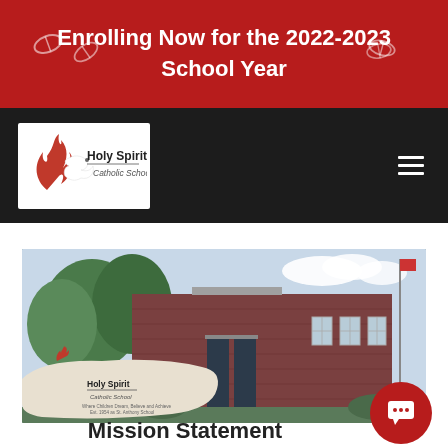Enrolling Now for the 2022-2023 School Year
[Figure (logo): Holy Spirit Catholic School logo with dove and flame graphic on white background]
[Figure (photo): Exterior photo of Holy Spirit Catholic School brick building with stone sign in foreground reading Holy Spirit Catholic School]
Mission Statement